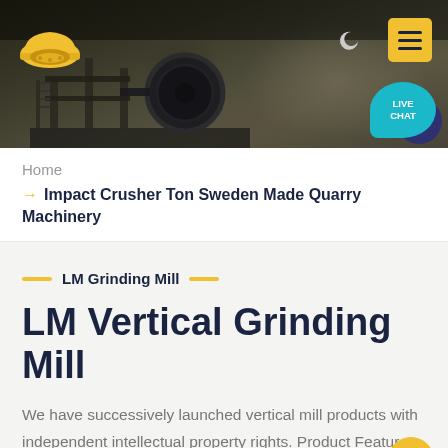[Figure (photo): Hero banner showing industrial quarry/mining equipment with dark rock background, company logo top-left, moon icon and yellow hamburger menu button top-right, live chat bubble bottom-right]
Home
→ Impact Crusher Ton Sweden Made Quarry Machinery
LM Grinding Mill
LM Vertical Grinding Mill
We have successively launched vertical mill products with independent intellectual property rights. Product Features: Integration of multiple functions, more stable and reliable